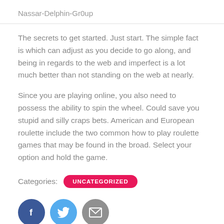Nassar-Delphin-Gr0up
The secrets to get started. Just start. The simple fact is which can adjust as you decide to go along, and being in regards to the web and imperfect is a lot much better than not standing on the web at nearly.
Since you are playing online, you also need to possess the ability to spin the wheel. Could save you stupid and silly craps bets. American and European roulette include the two common how to play roulette games that may be found in the broad. Select your option and hold the game.
Categories: UNCATEGORIZED
[Figure (other): Social share buttons: Facebook (dark blue circle with f icon), Twitter (light blue circle with bird icon), Email (grey circle with envelope icon)]